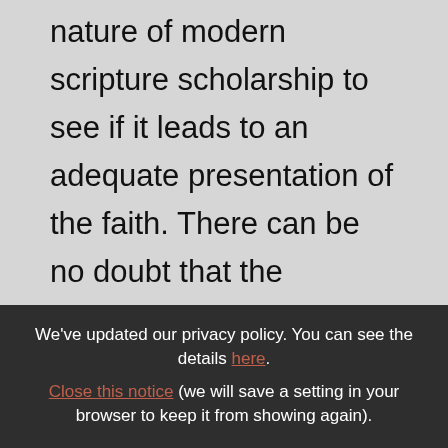nature of modern scripture scholarship to see if it leads to an adequate presentation of the faith. There can be no doubt that the historical critical method which now dominates contemporary biblical scholarship has made extensive contributions to modern theology. Yet, there is evidence that it may hold certain presuppositions that lead to a dehistoricization of the faith and a denial of the traditional view of the sacraments and the Church. Whether such presuppositions hold
We've updated our privacy policy. You can see the details here. Close this notice (we will save a setting in your browser to keep it from showing again).